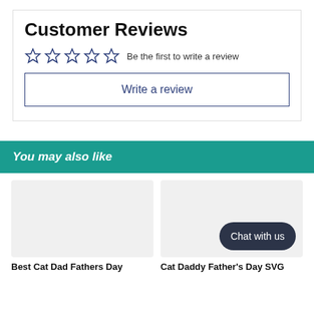Customer Reviews
☆☆☆☆☆  Be the first to write a review
Write a review
You may also like
[Figure (photo): Blank product image placeholder for Best Cat Dad Fathers Day]
Best Cat Dad Fathers Day
[Figure (photo): Blank product image placeholder for Cat Daddy Father's Day SVG with Chat with us button overlay]
Cat Daddy Father's Day SVG